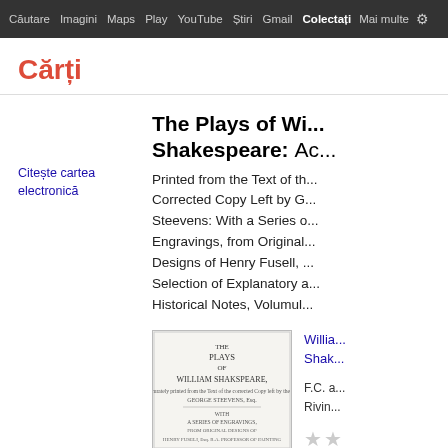Căutare  Imagini  Maps  Play  YouTube  Știri  Gmail  Colectați  Mai multe  [gear]
Cărți
Citește cartea electronică
The Plays of William Shakespeare: Ac... Printed from the Text of the Corrected Copy Left by G. Steevens: With a Series of Engravings, from Original Designs of Henry Fusell, ... Selection of Explanatory a... Historical Notes, Volumul...
[Figure (illustration): Thumbnail of old book title page showing 'THE PLAYS OF WILLIAM SHAKSPEARE' printed text in antique style]
William Shakespeare  F.C. a... Rivington... ★★